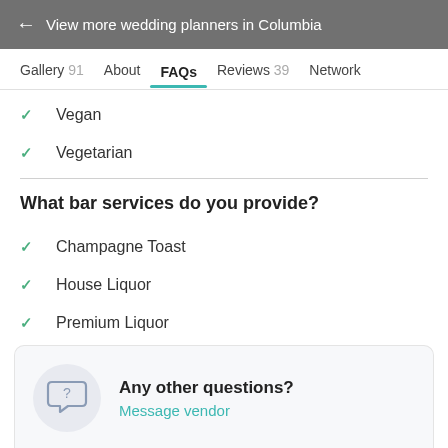← View more wedding planners in Columbia
Gallery 91   About   FAQs   Reviews 39   Network
✓ Vegan
✓ Vegetarian
What bar services do you provide?
✓ Champagne Toast
✓ House Liquor
✓ Premium Liquor
Any other questions?
Message vendor